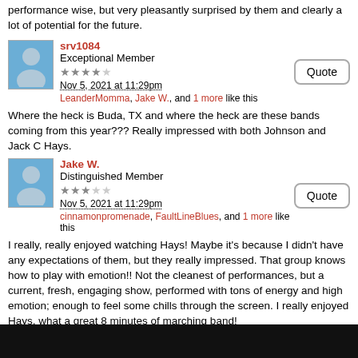performance wise, but very pleasantly surprised by them and clearly a lot of potential for the future.
srv1084
Exceptional Member
Nov 5, 2021 at 11:29pm
LeanderMomma, Jake W., and 1 more like this
Where the heck is Buda, TX and where the heck are these bands coming from this year??? Really impressed with both Johnson and Jack C Hays.
Jake W.
Distinguished Member
Nov 5, 2021 at 11:29pm
cinnamonpromenade, FaultLineBlues, and 1 more like this
I really, really enjoyed watching Hays! Maybe it's because I didn't have any expectations of them, but they really impressed. That group knows how to play with emotion!! Not the cleanest of performances, but a current, fresh, engaging show, performed with tons of energy and high emotion; enough to feel some chills through the screen. I really enjoyed Hays, what a great 8 minutes of marching band!
cinnamonpromenade